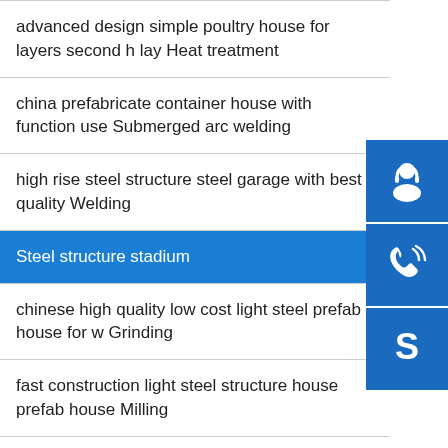advanced design simple poultry house for layers second h lay Heat treatment
china prefabricate container house with function use Submerged arc welding
high rise steel structure steel garage with best quality Welding
Steel structure stadium
chinese high quality low cost light steel prefab house for w Grinding
fast construction light steel structure house prefab house Milling
[Figure (infographic): Three blue sidebar buttons with white icons: headset/customer service icon, phone with signal waves icon, and Skype 'S' icon]